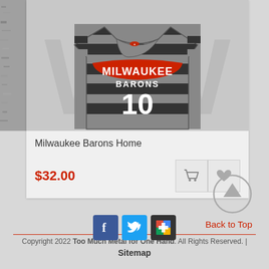[Figure (photo): Milwaukee Barons home jersey/shirt with gray and black horizontal stripes and number 10, displayed on a product card]
Milwaukee Barons Home
$32.00
Back to Top
Copyright 2022 Too Much Metal for One Hand. All Rights Reserved. | Sitemap